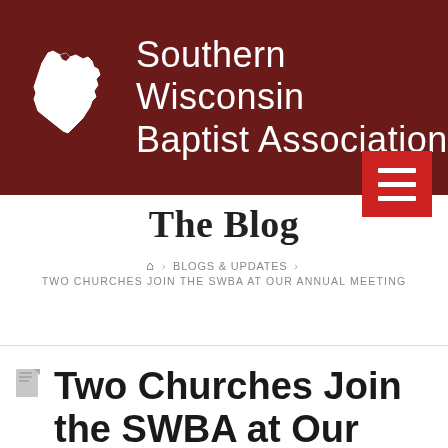[Figure (logo): Southern Wisconsin Baptist Association header banner with Wisconsin state map outline and organization name in white text on dark red background, with red hamburger menu button]
The Blog
🏠 › BLOGS & UPDATES › TWO CHURCHES JOIN THE SWBA AT OUR ANNUAL MEETING
Two Churches Join the SWBA at Our Annual Meeting